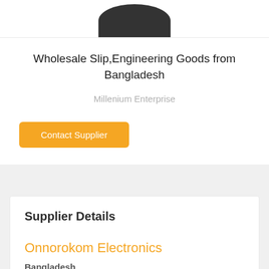[Figure (photo): Partial product image at top, dark rounded shape visible at top of page]
Wholesale Slip,Engineering Goods from Bangladesh
Millenium Enterprise
Contact Supplier
Supplier Details
Onnorokom Electronics